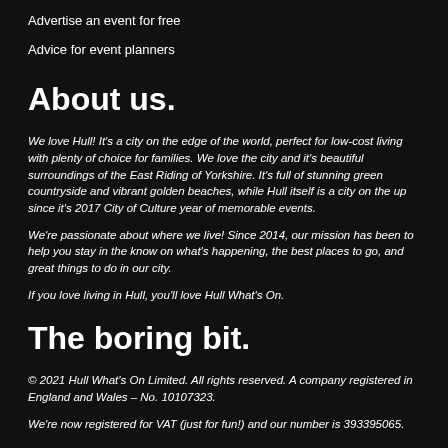Advertise an event for free
Advice for event planners
About us.
We love Hull! It's a city on the edge of the world, perfect for low-cost living with plenty of choice for families. We love the city and it's beautiful surroundings of the East Riding of Yorkshire. It's full of stunning green countryside and vibrant golden beaches, while Hull itself is a city on the up since it's 2017 City of Culture year of memorable events.
We're passionate about where we live! Since 2014, our mission has been to help you stay in the know on what's happening, the best places to go, and great things to do in our city.
If you love living in Hull, you'll love Hull What's On.
The boring bit.
© 2021 Hull What's On Limited. All rights reserved. A company registered in England and Wales – No. 10107323.
We're now registered for VAT (just for fun!) and our number is 393395065.